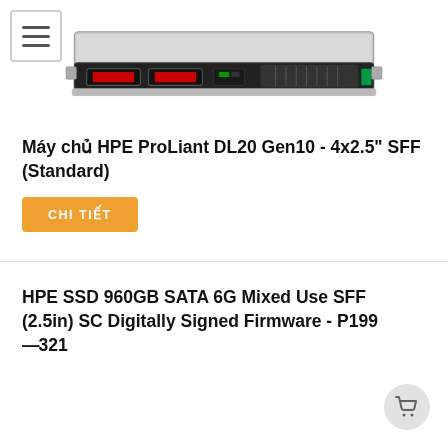[Figure (photo): HPE ProLiant DL20 Gen10 server - 1U rack server front/top view, silver and black chassis with drive bays]
Máy chủ HPE ProLiant DL20 Gen10 - 4x2.5" SFF (Standard)
CHI TIẾT
HPE SSD 960GB SATA 6G Mixed Use SFF (2.5in) SC Digitally Signed Firmware - P199—321